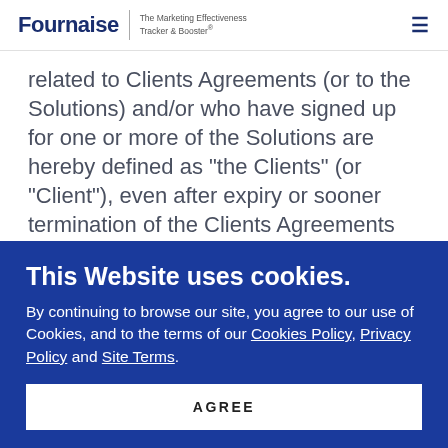Fournaise | The Marketing Effectiveness Tracker & Booster®
related to Clients Agreements (or to the Solutions) and/or who have signed up for one or more of the Solutions are hereby defined as "the Clients" (or "Client"), even after expiry or sooner termination of the Clients Agreements or of the Solutions. For the avoidance of doubt, Clients Agreements and
This Website uses cookies.
By continuing to browse our site, you agree to our use of Cookies, and to the terms of our Cookies Policy, Privacy Policy and Site Terms.
AGREE